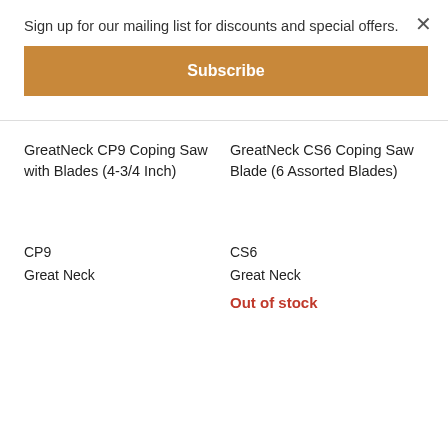Sign up for our mailing list for discounts and special offers.
Subscribe
GreatNeck CP9 Coping Saw with Blades (4-3/4 Inch)
GreatNeck CS6 Coping Saw Blade (6 Assorted Blades)
CP9
Great Neck
CS6
Great Neck
Out of stock